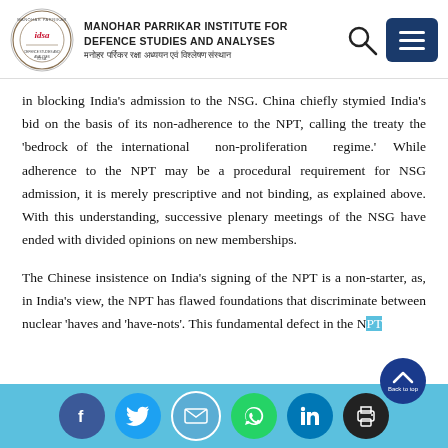MANOHAR PARRIKAR INSTITUTE FOR DEFENCE STUDIES AND ANALYSES | मनोहर पर्रिकर रक्षा अध्ययन एवं विश्लेषण संस्थान
in blocking India's admission to the NSG. China chiefly stymied India's bid on the basis of its non-adherence to the NPT, calling the treaty the 'bedrock of the international non-proliferation regime.' While adherence to the NPT may be a procedural requirement for NSG admission, it is merely prescriptive and not binding, as explained above. With this understanding, successive plenary meetings of the NSG have ended with divided opinions on new memberships.
The Chinese insistence on India's signing of the NPT is a non-starter, as, in India's view, the NPT has flawed foundations that discriminate between nuclear 'haves' and 'have-nots'. This fundamental defect in the N…
Social share icons: Facebook, Twitter, Email, WhatsApp, LinkedIn, Print